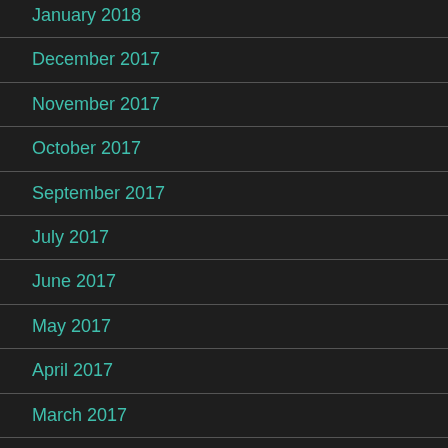January 2018
December 2017
November 2017
October 2017
September 2017
July 2017
June 2017
May 2017
April 2017
March 2017
February 2017